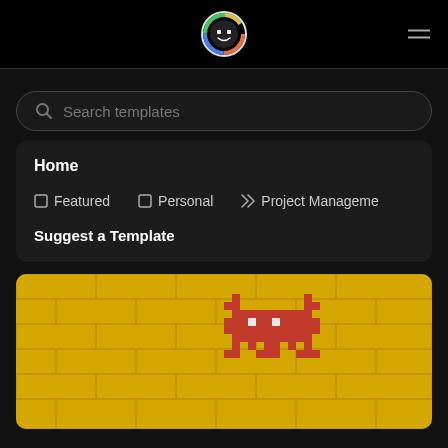Navigation bar with logo and hamburger menu
Search templates
Home
Featured
Personal
Project Management
Suggest a Template
[Figure (photo): Red pixel art space invader mosaic on a yellow brick wall]